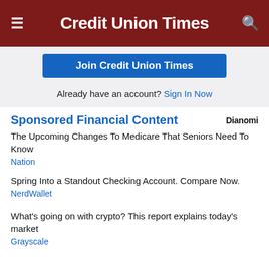Credit Union Times
Join Credit Union Times
Already have an account? Sign In Now
Sponsored Financial Content
The Upcoming Changes To Medicare That Seniors Need To Know
Nation
Spring Into a Standout Checking Account. Compare Now.
NerdWallet
What's going on with crypto? This report explains today's market
Grayscale